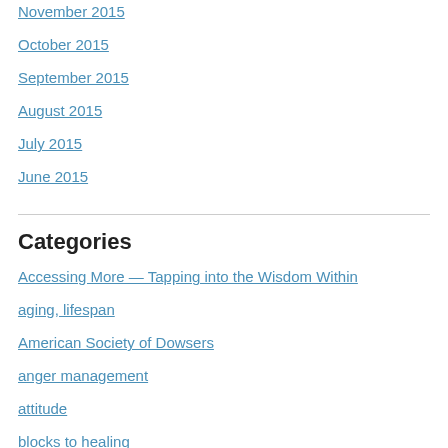November 2015
October 2015
September 2015
August 2015
July 2015
June 2015
Categories
Accessing More — Tapping into the Wisdom Within
aging, lifespan
American Society of Dowsers
anger management
attitude
blocks to healing
body language
brainwashing
Cause and Effect
Central Virginia Dowsers